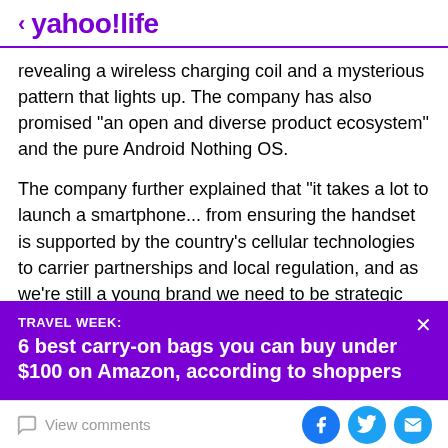yahoo!life
revealing a wireless charging coil and a mysterious pattern that lights up. The company has also promised "an open and diverse product ecosystem" and the pure Android Nothing OS.
The company further explained that "it takes a lot to launch a smartphone... from ensuring the handset is supported by the country's cellular technologies to carrier partnerships and local regulation, and as we're still a young brand we need to be strategic about it." Even
[Figure (infographic): Purple ad banner overlay: TRAVEL WEEK: 6 best carry-on bags you can buy under $100 on Amazon, according to shoppers]
View comments